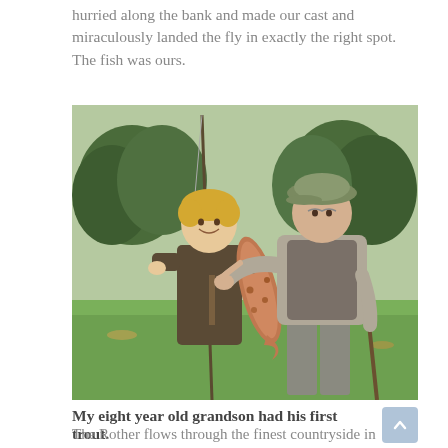hurried along the bank and made our cast and miraculously landed the fly in exactly the right spot. The fish was ours.
[Figure (photo): A young boy with blonde hair and an older man standing outdoors on a grassy park or estate. The boy is holding a fishing rod and a large spotted trout (brown/rainbow trout). The older man is pointing at the fish. Both are dressed in outdoor/country clothing. Trees are visible in the background.]
My eight year old grandson had his first trout.
The Rother flows through the finest countryside in